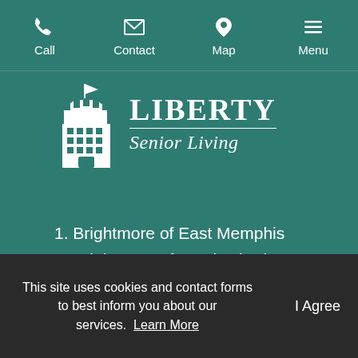Call  Contact  Map  Menu
[Figure (logo): Liberty Senior Living logo with a tower/turret icon and text LIBERTY Senior Living]
1. Brightmore of East Memphis
2. Brightmore of South Charlotte
3. Brightmore of Wilmington
4. Carolina Bay at Autumn Hall
5. Carrollton Court
6. Hayes Barton Place
7. Inspire Brunswick Forest
This site uses cookies and contact forms to best inform you about our services.  Learn More    I Agree